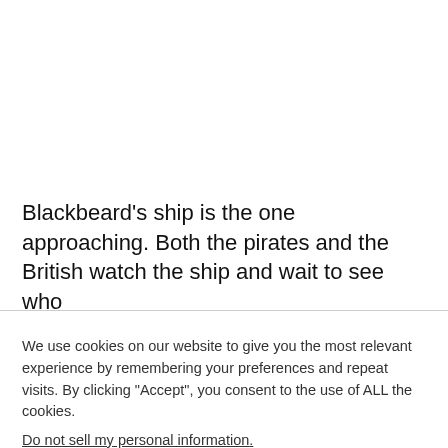Blackbeard’s ship is the one approaching. Both the pirates and the British watch the ship and wait to see who
We use cookies on our website to give you the most relevant experience by remembering your preferences and repeat visits. By clicking “Accept”, you consent to the use of ALL the cookies.
Do not sell my personal information.